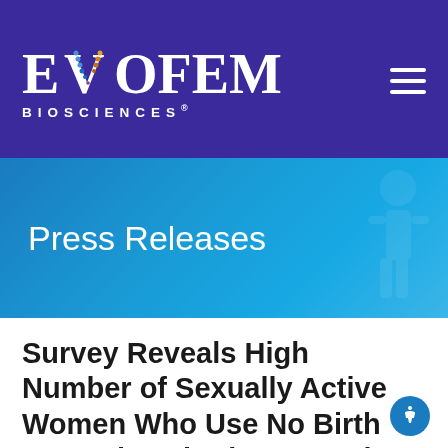[Figure (logo): Evofem Biosciences logo — white text on dark purple background with stylized V graphic in multi-color]
Press Releases
Survey Reveals High Number of Sexually Active Women Who Use No Birth Control Method, Supporting the Continued Need for Non-